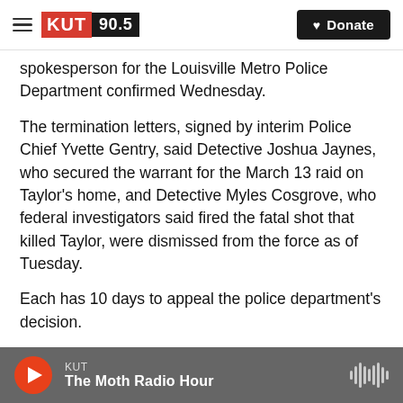KUT 90.5 — Donate
spokesperson for the Louisville Metro Police Department confirmed Wednesday.
The termination letters, signed by interim Police Chief Yvette Gentry, said Detective Joshua Jaynes, who secured the warrant for the March 13 raid on Taylor's home, and Detective Myles Cosgrove, who federal investigators said fired the fatal shot that killed Taylor, were dismissed from the force as of Tuesday.
Each has 10 days to appeal the police department's decision.
KUT — The Moth Radio Hour